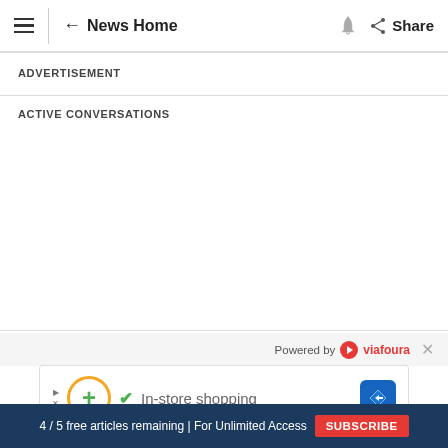≡  ← News Home  🔔  ⬡ Share
ADVERTISEMENT
ACTIVE CONVERSATIONS
Powered by ❤ viafoura ×
[Figure (other): Ad banner: play icon, orange circle with green plus, green checkmark, 'In-store shopping' text, blue diamond arrow icon]
4 / 5 free articles remaining | For Unlimited Access  SUBSCRIBE